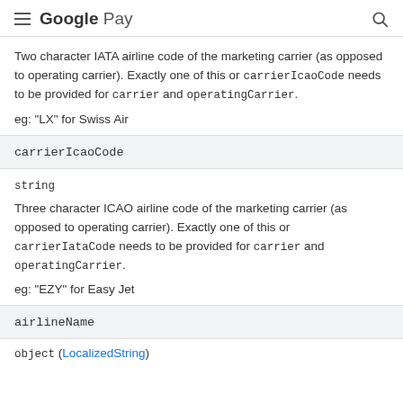Google Pay
Two character IATA airline code of the marketing carrier (as opposed to operating carrier). Exactly one of this or carrierIcaoCode needs to be provided for carrier and operatingCarrier.

eg: "LX" for Swiss Air
carrierIcaoCode
string
Three character ICAO airline code of the marketing carrier (as opposed to operating carrier). Exactly one of this or carrierIataCode needs to be provided for carrier and operatingCarrier.

eg: "EZY" for Easy Jet
airlineName
object (LocalizedString)